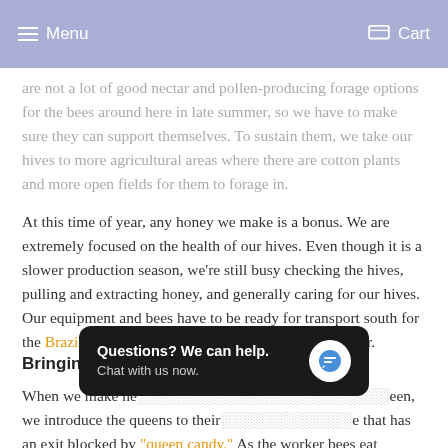Menu | Cart
are not a lot of good nectar and pollen-producing forage options for the bees around here in late summer, so we have to make sure they can support themselves. To sustain them, we take our hives to more agricultural areas where there are cotton plants and more open fields for them to forage in.
At this time of year, any honey we make is a bonus. We are extremely focused on the health of our hives. Even though it is a slower production season, we're still busy checking the hives, pulling and extracting honey, and generally caring for our hives. Our equipment and bees have to be ready for transport south for the Brazilian pepper flow, the last big rush before winter.
Bringing In The Queen Bees
When we make ne[...] queen, we introduce the queens to their [...] that has an exit blocked by "queen candy." As the worker bees eat through the sugary plug to release the new queen, they are getting used to her...